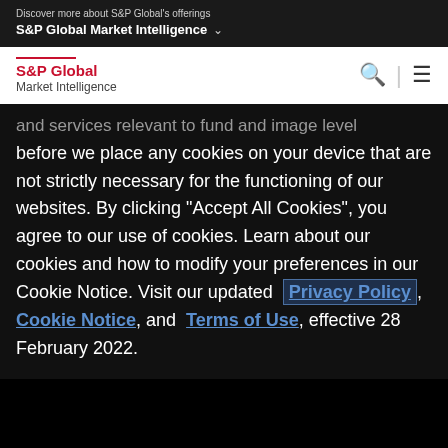Discover more about S&P Global's offerings
S&P Global Market Intelligence ∨
[Figure (logo): S&P Global Market Intelligence logo with red line and red S&P Global text]
and services relevant to fund and image level before we place any cookies on your device that are not strictly necessary for the functioning of our websites. By clicking "Accept All Cookies", you agree to our use of cookies. Learn about our cookies and how to modify your preferences in our Cookie Notice. Visit our updated Privacy Policy, Cookie Notice, and Terms of Use, effective 28 February 2022.